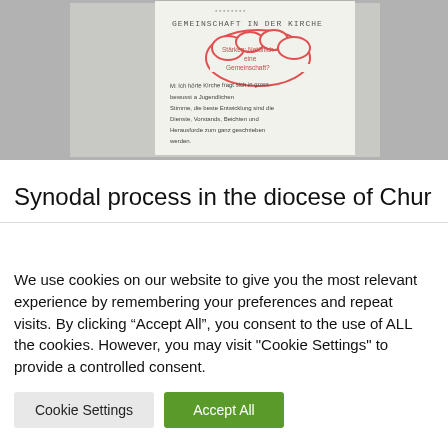[Figure (photo): A photograph of a handwritten note/paper with German text. The note shows 'GEMEINSCHAFT IN DER KIRCHE' as a title, a cloud-shaped doodle with handwritten text inside, and several lines of handwritten German text below.]
Synodal process in the diocese of Chur
We use cookies on our website to give you the most relevant experience by remembering your preferences and repeat visits. By clicking “Accept All”, you consent to the use of ALL the cookies. However, you may visit "Cookie Settings" to provide a controlled consent.
Cookie Settings
Accept All